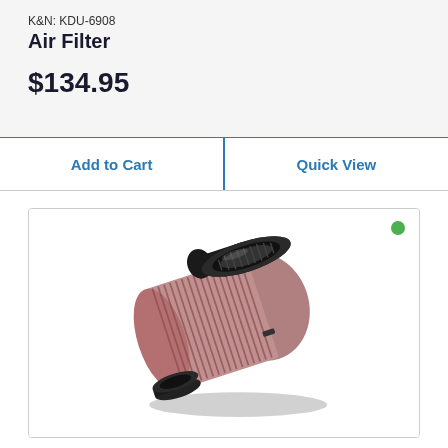K&N: KDU-6908
Air Filter
$134.95
Add to Cart
Quick View
[Figure (photo): K&N KDU-6908 Air Filter — a cylindrical conical air filter with red/pink pleated cotton gauze filter media wrapped in a black rubber end cap and flange, photographed at an angle showing the open inlet end and the ribbed exterior. A small green availability dot appears in the top-right corner of the product card.]